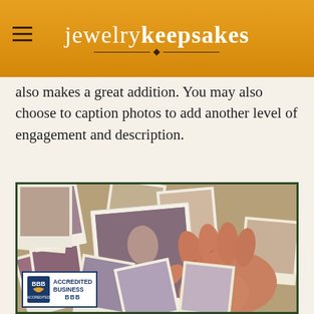jewelrykeepsakes
also makes a great addition. You may also choose to caption photos to add another level of engagement and description.
[Figure (photo): An elderly hand holding a vintage polaroid photograph above a scattered collection of old polaroid photos on a surface.]
[Figure (logo): BBB Accredited Business seal/badge]